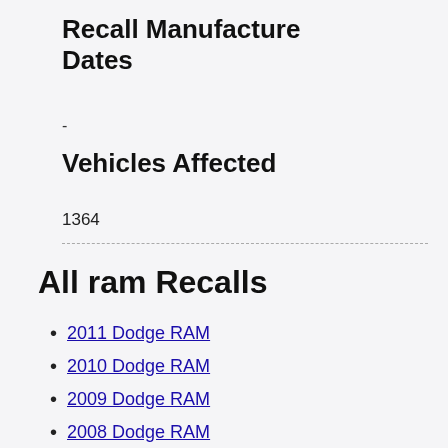Recall Manufacture Dates
-
Vehicles Affected
1364
All ram Recalls
2011 Dodge RAM
2010 Dodge RAM
2009 Dodge RAM
2008 Dodge RAM